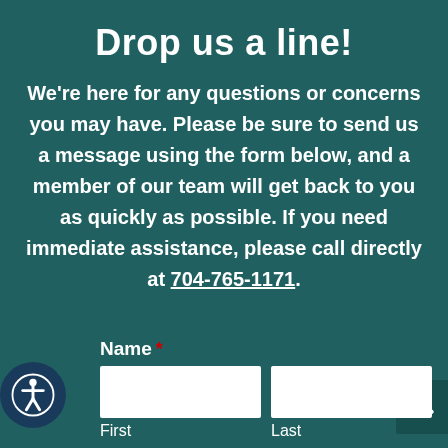Drop us a line!
We're here for any questions or concerns you may have. Please be sure to send us a message using the form below, and a member of our team will get back to you as quickly as possible. If you need immediate assistance, please call directly at 704-765-1171.
Name *
First | Last